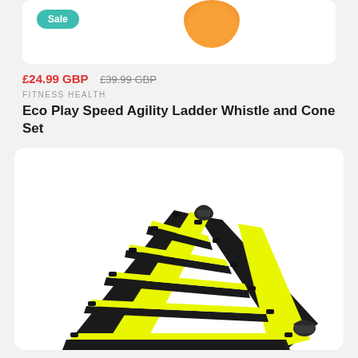[Figure (photo): Top portion of a product card showing a Sale badge in teal and an orange cone/disc on white background]
£24.99 GBP  £39.99 GBP
FITNESS HEALTH
Eco Play Speed Agility Ladder Whistle and Cone Set
[Figure (photo): Product photo of a yellow and black speed agility ladder laid flat, viewed at an angle, with metal clips at ends]